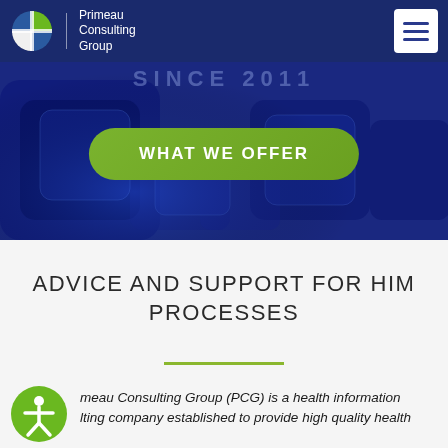[Figure (logo): Primeau Consulting Group logo with circular quartered globe icon and text 'Primeau Consulting Group']
[Figure (screenshot): Blue hero banner with keyboard background, 'SINCE 2011' watermark text, and green 'WHAT WE OFFER' button]
ADVICE AND SUPPORT FOR HIM PROCESSES
meau Consulting Group (PCG) is a health information lting company established to provide high quality health